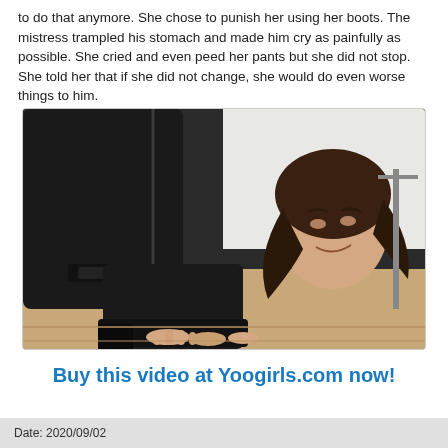to do that anymore. She chose to punish her using her boots. The mistress trampled his stomach and made him cry as painfully as possible. She cried and even peed her pants but she did not stop. She told her that if she did not change, she would do even worse things to him.
[Figure (photo): Photo of a person in black boots pressing down on another person's hands on a wooden floor, the person on the floor is grimacing in pain.]
Buy this video at Yoogirls.com now!
Date: 2020/09/02